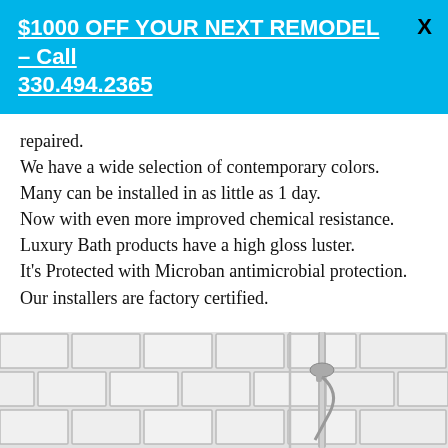$1000 OFF YOUR NEXT REMODEL - Call 330.494.2365
repaired.
We have a wide selection of contemporary colors.
Many can be installed in as little as 1 day.
Now with even more improved chemical resistance.
Luxury Bath products have a high gloss luster.
It’s Protected with Microban antimicrobial protection.
Our installers are factory certified.
[Figure (photo): Shower interior with white subway tile walls and chrome shower fixtures/handheld shower head]